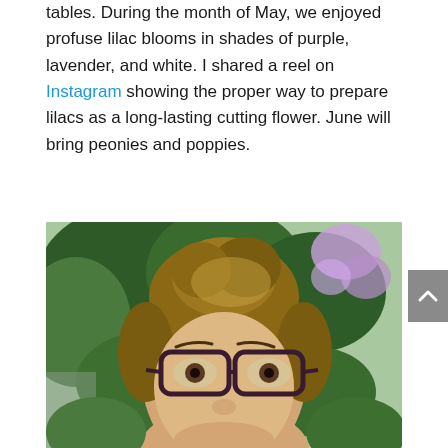tables. During the month of May, we enjoyed profuse lilac blooms in shades of purple, lavender, and white. I shared a reel on Instagram showing the proper way to prepare lilacs as a long-lasting cutting flower. June will bring peonies and poppies.
[Figure (photo): A woman with brown hair in a bun and dark-rimmed glasses taking a selfie outdoors, surrounded by green trees and purple lilac blooms in the background.]